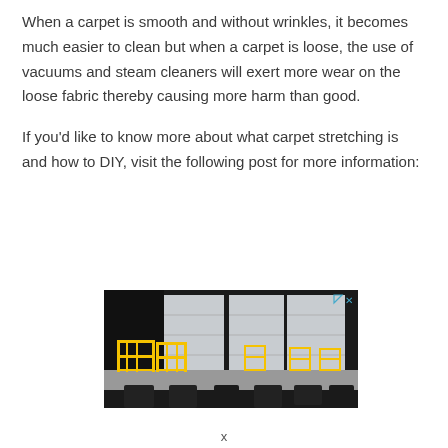When a carpet is smooth and without wrinkles, it becomes much easier to clean but when a carpet is loose, the use of vacuums and steam cleaners will exert more wear on the loose fabric thereby causing more harm than good.
If you'd like to know more about what carpet stretching is and how to DIY, visit the following post for more information:
[Figure (photo): Advertisement image showing a loading dock with yellow safety railings, gray industrial garage doors, and a raised concrete platform with black dock bumpers below.]
x